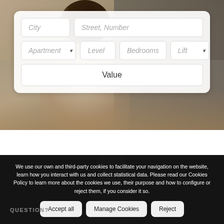[Figure (photo): Hero background photo of a person (woman with dark hair in white top) working at a desk, blurred/bokeh style with warm tones]
City
Street, Number
Apartment
Level
Bedrooms
Lift
Value
We use our own and third-party cookies to facilitate your navigation on the website, learn how you interact with us and collect statistical data. Please read our Cookies Policy to learn more about the cookies we use, their purpose and how to configure or reject them, if you consider it so.
Accept all
Manage Cookies
Reject
QUESTION?